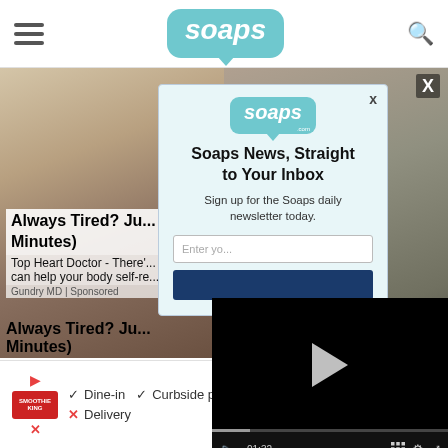soaps.com navigation bar with hamburger menu and search icon
[Figure (screenshot): Background webpage content showing a man in a suit on the left and food/cooking scene on the right, partially obscured by modal and video player]
[Figure (screenshot): Soaps.com email signup modal popup with logo, headline 'Soaps News, Straight to Your Inbox', subtext 'Sign up for the Soaps daily newsletter today.', email input field, and dark blue subscribe button]
[Figure (screenshot): Embedded video player showing black screen with play button, progress bar showing 01:32 timestamp, and playback controls]
Always Tired? Ju... Minutes)
Top Heart Doctor - There'... can help your body self-re...
Gundry MD | Sponsored
[Figure (screenshot): Bottom advertisement bar showing Smoothie King logo with Dine-in checkmark, Curbside pickup checkmark, Delivery X mark, and navigation arrow icon]